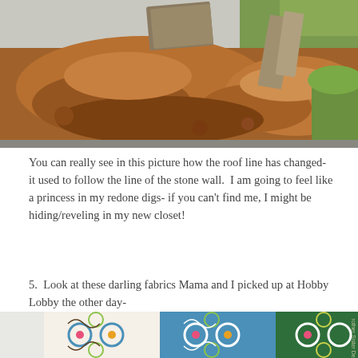[Figure (photo): Outdoor construction scene showing mounds of red/brown dirt and soil excavation with greenery visible in the background and wooden materials.]
You can really see in this picture how the roof line has changed- it used to follow the line of the stone wall.  I am going to feel like a princess in my redone digs- if you can't find me, I might be hiding/reveling in my new closet!
5.  Look at these darling fabrics Mama and I picked up at Hobby Lobby the other day-
[Figure (photo): Decorative fabric rolls showing colorful tile-like floral and scrollwork patterns in blue, green, red, and yellow on white background.]